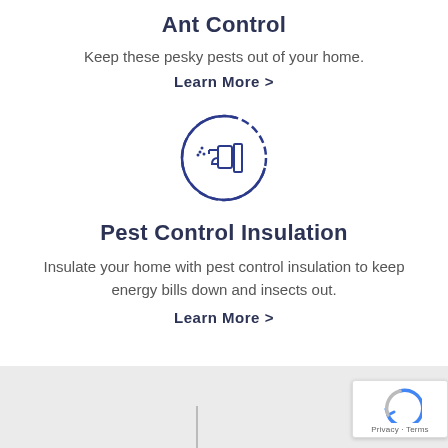Ant Control
Keep these pesky pests out of your home.
Learn More >
[Figure (illustration): Circle icon with a spray bottle/pest control sprayer illustration in blue outline style]
Pest Control Insulation
Insulate your home with pest control insulation to keep energy bills down and insects out.
Learn More >